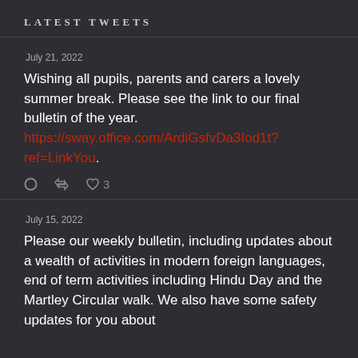Latest Tweets
July 21, 2022
Wishing all pupils, parents and carers a lovely summer break. Please see the link to our final bulletin of the year. https://sway.office.com/ArdiGsfvDa3Iod1t?ref=LinkYou.
July 15, 2022
Please our weekly bulletin, including updates about a wealth of activities in modern foreign languages, end of term activities including Hindu Day and the Martley Circular walk. We also have some safety updates for you about